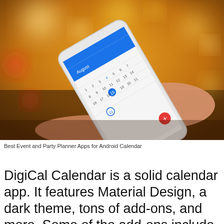[Figure (photo): A person holding a white smartphone displaying a calendar app (DigiCal), with a blurred bokeh background of warm yellow and orange lights.]
Best Event and Party Planner Apps for Android Calendar
DigiCal Calendar is a solid calendar app. It features Material Design, a dark theme, tons of add-ons, and more. Some of the add-ons include sports calendars, TV schedules, and over 500,000 other.